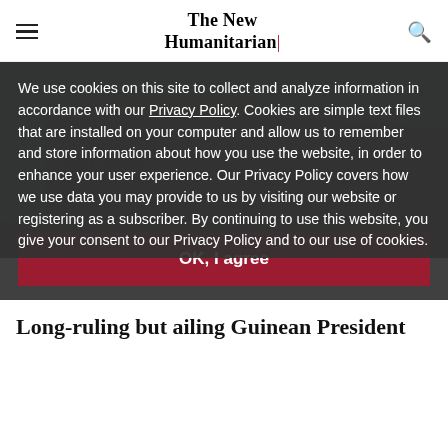The New Humanitarian
[Figure (map): Map showing Guinea with Conakry marked with a red dot, Kindia labeled, Sierra Leone, North Atlantic Ocean, Liberia, Cote d'Ivoire regions visible]
We use cookies on this site to collect and analyze information in accordance with our Privacy Policy. Cookies are simple text files that are installed on your computer and allow us to remember and store information about how you use the website, in order to enhance your user experience. Our Privacy Policy covers how we use data you may provide to us by visiting our website or registering as a subscriber. By continuing to use this website, you give your consent to our Privacy Policy and to our use of cookies.
OK, I agree
Long-ruling but ailing Guinean President